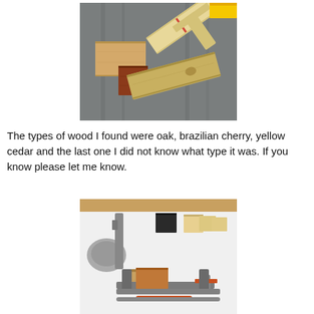[Figure (photo): Various wood samples (oak, brazilian cherry, yellow cedar, and unknown type) laid out on a table saw surface. Includes small square pieces and longer plank pieces arranged loosely.]
The types of wood I found were oak, brazilian cherry, yellow cedar and the last one I did not know what type it was. If you know please let me know.
[Figure (photo): Small wood block samples (including a dark/black piece and light colored blocks) laid out on a white surface, with a metal C-clamp clamping a wood block in the foreground, and part of a drill press visible on the left.]